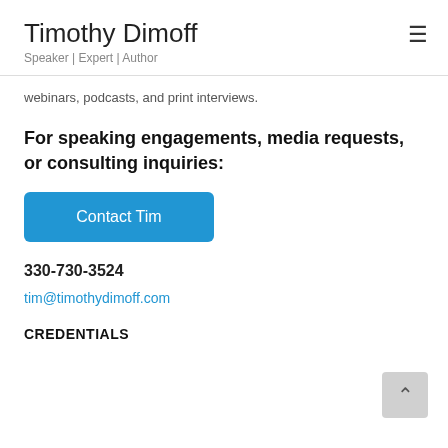Timothy Dimoff
Speaker | Expert | Author
webinars, podcasts, and print interviews.
For speaking engagements, media requests, or consulting inquiries:
[Figure (other): Blue button labeled 'Contact Tim']
330-730-3524
tim@timothydimoff.com
CREDENTIALS